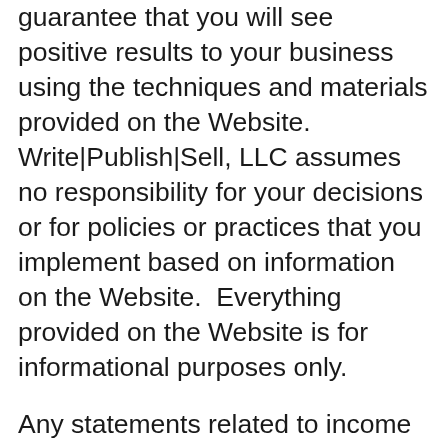guarantee that you will see positive results to your business using the techniques and materials provided on the Website. Write|Publish|Sell, LLC assumes no responsibility for your decisions or for policies or practices that you implement based on information on the Website.  Everything provided on the Website is for informational purposes only.
Any statements related to income or earnings potential on the Website are examples of what may be possible in the future. Write|Publish|Sell LLC makes no guarantees regarding results, present or future. Write|Publish|Sell LLC is not responsible for your earnings, income, and so on the future.